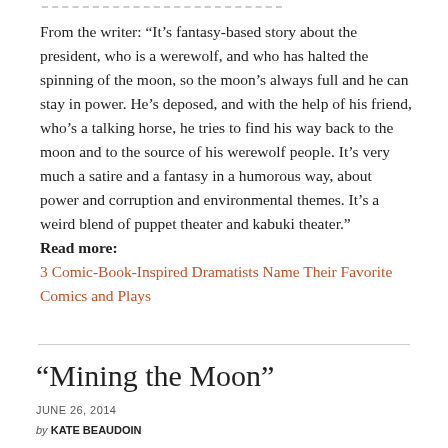From the writer: “It’s fantasy-based story about the president, who is a werewolf, and who has halted the spinning of the moon, so the moon’s always full and he can stay in power. He’s deposed, and with the help of his friend, who’s a talking horse, he tries to find his way back to the moon and to the source of his werewolf people. It’s very much a satire and a fantasy in a humorous way, about power and corruption and environmental themes. It’s a weird blend of puppet theater and kabuki theater.” Read more: 3 Comic-Book-Inspired Dramatists Name Their Favorite Comics and Plays
“Mining the Moon”
JUNE 26, 2014
BY KATE BEAUDOIN